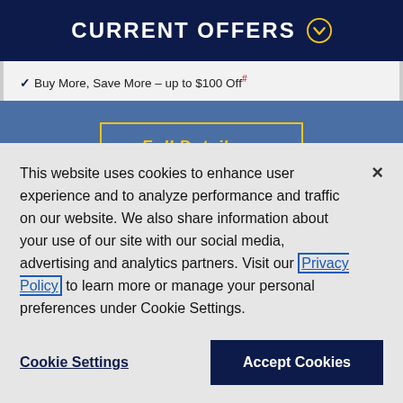CURRENT OFFERS
Buy More, Save More – up to $100 Off#
Full Details
This website uses cookies to enhance user experience and to analyze performance and traffic on our website. We also share information about your use of our site with our social media, advertising and analytics partners. Visit our Privacy Policy to learn more or manage your personal preferences under Cookie Settings.
Cookie Settings
Accept Cookies